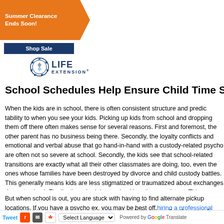[Figure (logo): Life Extension logo with orange ribbon ad banner saying Summer Clearance Ends Soon and Shop Sale button]
School Schedules Help Ensure Child Time Share Consist...
When the kids are in school, there is often consistent structure and predictability to when you see your kids. Picking up kids from school and dropping them off there often makes sense for several reasons. First and foremost, the other parent has no business being there. Secondly, the loyalty conflicts and emotional and verbal abuse that go hand-in-hand with a custody-related psycho are often not so severe at school. Secondly, the kids see that school-related transitions are exactly what all their other classmates are doing, too, even the ones whose families have been destroyed by divorce and child custody battles. This generally means kids are less stigmatized or traumatized about exchanges done at school. Finally, the schedule at school is rather consistent. This means the kids know what the expect. The reduced uncertainty can ease their worries away and you don't have to renegotiate your time with the kids.
But when school is out, you are stuck with having to find alternate pickup locations. If you have a psycho ex, you may be best off hiring a professional custody exchange station that has extensive video surveillance to help reduce the chances of...
Tweet | Reddit | Email | Select Language | Powered by Google Translate